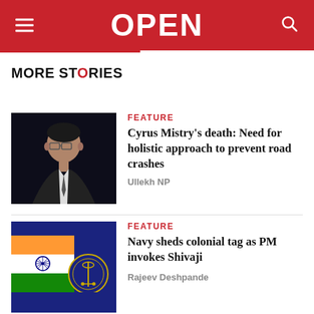OPEN
MORE STORIES
[Figure (photo): Portrait photo of Cyrus Mistry, a man in a dark suit with glasses]
FEATURE
Cyrus Mistry's death: Need for holistic approach to prevent road crashes
Ullekh NP
[Figure (photo): Indian flag with navy logo emblem on dark blue background]
FEATURE
Navy sheds colonial tag as PM invokes Shivaji
Rajeev Deshpande